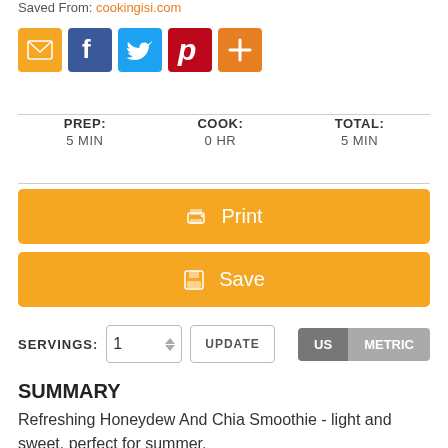Saved From: cookingisi.com
[Figure (other): Social sharing icons: email (orange), Facebook (blue), Twitter (light blue), Pinterest (red), Add/Plus (orange)]
PREP: 5 MIN   COOK: 0 HR   TOTAL: 5 MIN
Print
Save
SERVINGS: 1  UPDATE  US  METRIC
SUMMARY
Refreshing Honeydew And Chia Smoothie - light and sweet, perfect for summer.